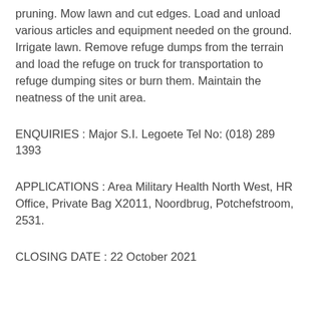pruning. Mow lawn and cut edges. Load and unload various articles and equipment needed on the ground. Irrigate lawn. Remove refuge dumps from the terrain and load the refuge on truck for transportation to refuge dumping sites or burn them. Maintain the neatness of the unit area.
ENQUIRIES : Major S.I. Legoete Tel No: (018) 289 1393
APPLICATIONS : Area Military Health North West, HR Office, Private Bag X2011, Noordbrug, Potchefstroom, 2531.
CLOSING DATE : 22 October 2021